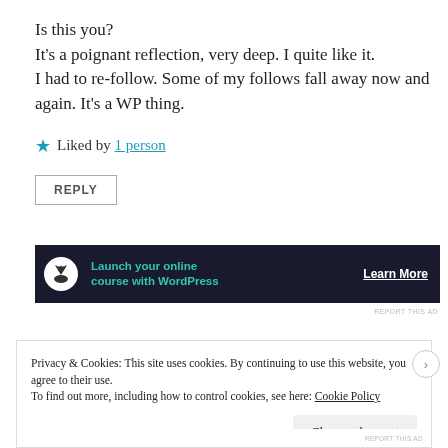Is this you?
It's a poignant reflection, very deep. I quite like it.
I had to re-follow. Some of my follows fall away now and again. It's a WP thing.
★ Liked by 1 person
REPLY
[Figure (screenshot): Dark banner advertisement: bonsai tree logo, text 'Launch your online course with WordPress' in teal, 'Learn More' button in white on dark background]
REPORT THIS AD
Privacy & Cookies: This site uses cookies. By continuing to use this website, you agree to their use.
To find out more, including how to control cookies, see here: Cookie Policy
Close and accept